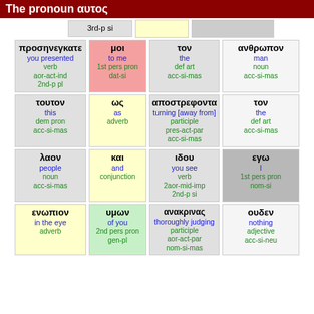The pronoun αυτος
| 3rd-p si |  |  |
| προσηνεγκατε / you presented / verb / aor-act-ind / 2nd-p pl | μοι / to me / 1st pers pron / dat-si | τον / the / def art / acc-si-mas | ανθρωπον / man / noun / acc-si-mas |
| τουτον / this / dem pron / acc-si-mas | ως / as / adverb | αποστρεφοντα / turning [away from] / participle / pres-act-par / acc-si-mas | τον / the / def art / acc-si-mas |
| λαον / people / noun / acc-si-mas | και / and / conjunction | ιδου / you see / verb / 2aor-mid-imp / 2nd-p si | εγω / I / 1st pers pron / nom-si |
| ενωπιον / in the eye / adverb | υμων / of you / 2nd pers pron / gen-pl | ανακρινας / thoroughly judging / participle / aor-act-par / nom-si-mas | ουδεν / nothing / adjective / acc-si-neu |